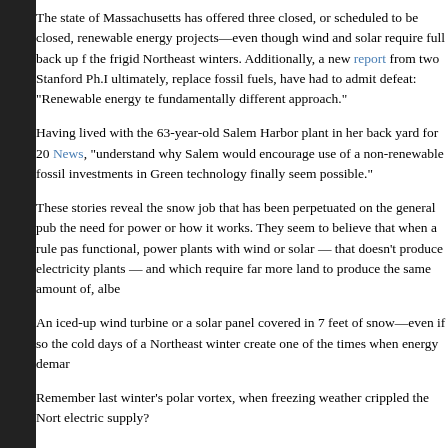The state of Massachusetts has offered three closed, or scheduled to be closed, renewable energy projects—even though wind and solar require full back up for the frigid Northeast winters. Additionally, a new report from two Stanford Ph.D ultimately, replace fossil fuels, have had to admit defeat: "Renewable energy te fundamentally different approach."
Having lived with the 63-year-old Salem Harbor plant in her back yard for 20 News, "understand why Salem would encourage use of a non-renewable fossil investments in Green technology finally seem possible."
These stories reveal the snow job that has been perpetuated on the general pub the need for power or how it works. They seem to believe that when a rule pas functional, power plants with wind or solar — that doesn't produce electricity plants — and which require far more land to produce the same amount of, albe
An iced-up wind turbine or a solar panel covered in 7 feet of snow—even if so the cold days of a Northeast winter create one of the times when energy demar
Remember last winter's polar vortex, when freezing weather crippled the Nort electric supply?
Congress, following the near crisis, brought in utility executives to explain the winter, Nicholas Akins, the CEO of the biggest generator of coal-fueled electr Congress: "This country did not just dodge a bullet—we dodged a cannon ball